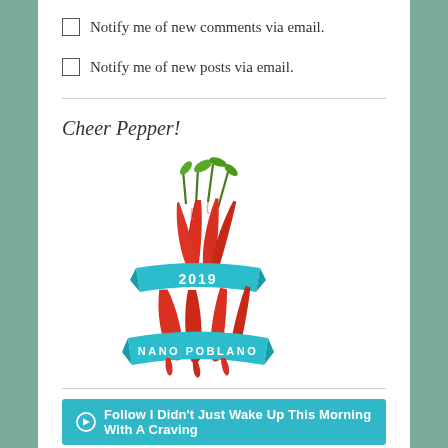Notify me of new comments via email.
Notify me of new posts via email.
Cheer Pepper!
[Figure (illustration): 2019 Nano Poblano logo: red chili peppers tied with teal/turquoise ribbons reading '2019' and 'NANO POBLANO']
Follow I Didn't Just Wake Up This Morning With A Craving